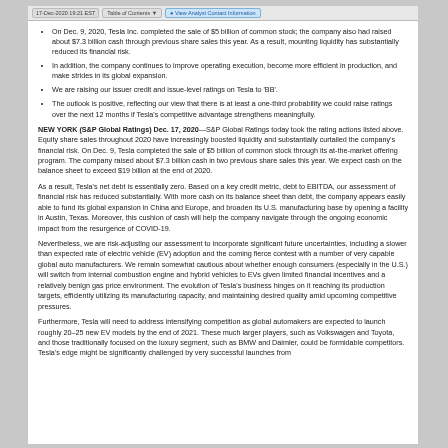17-Dec-2020 19:21 EST | Table of Contents | View Analyst Contact Information
On Dec. 9, 2020, Tesla Inc. completed the sale of $5 billion of common stock; the company also had raised about $7.3 billion cash through previous share sales this year. As a result, mounting liquidity has substantially reduced its financial risk.
In addition, the company continues to improve operating execution, become more efficient in production, and make strides in its global expansion.
We are raising our issuer credit and issue-level ratings on Tesla to 'BB'.
The outlook is positive, reflecting our view that there is at least a one-third probability we could raise ratings over the next 12 months if Tesla's competitive advantage strengthens meaningfully.
NEW YORK (S&P Global Ratings) Dec. 17, 2020—S&P Global Ratings today took the rating actions listed above. Equity share sales throughout 2020 have increasingly boosted liquidity and substantially curtailed the company's financial risk. On Dec. 9, Tesla completed the sale of $5 billion of common stock through its at-the-market offering program. The company raised about $7.3 billion cash in two previous share sales this year. We expect cash on the balance sheet to exceed $19 billion at the end of 2020.
As a result, Tesla's net debt is essentially zero. Based on a key credit metric, debt to EBITDA, our assessment of financial risk has reduced substantially. With more cash on its balance sheet than debt, the company appears easily able to fund its global expansion in China and Europe, and broaden its U.S. manufacturing base by opening a facility in Austin, Texas. Moreover, this cushion of cash will help the company navigate through the ongoing economic impact from the resurgence of COVID-19.
Nevertheless, we are risk-adjusting our assessment to incorporate significant future uncertainties, including a slower than expected rate of electric vehicle (EV) adoption and the coming fierce contest with a number of very capable global auto manufacturers. We remain somewhat cautious about whether enough consumers (especially in the U.S.) will switch from internal combustion engine and hybrid vehicles to EVs given limited financial incentives and a relatively benign gas price environment. The evolution of Tesla's business hinges on it reaching its production targets, efficiently utilizing its manufacturing capacity, and maintaining desired quality amid upcoming competitive pressures.
Furthermore, Tesla will need to address intensifying competition as global automakers are expected to launch roughly 20–25 new EV models by the end of 2021. These much larger players, such as Volkswagen and Toyota, and those traditionally focused on the luxury segment, such as BMW and Daimler, could be formidable competitors. Tesla's edge might be significantly challenged by very successful launches from